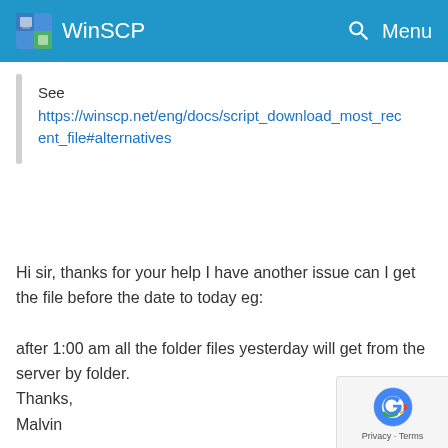WinSCP
See https://winscp.net/eng/docs/script_download_most_recent_file#alternatives
Hi sir, thanks for your help I have another issue can I get the file before the date to today eg:

after 1:00 am all the folder files yesterday will get from the server by folder.
Thanks,
Malvin